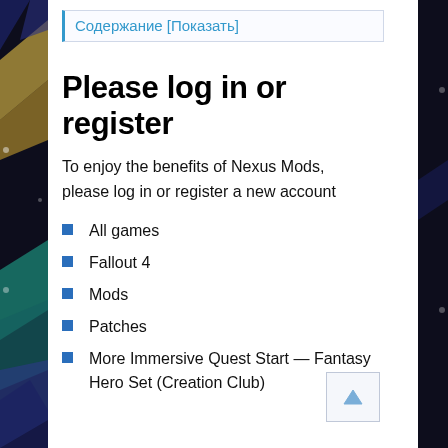Содержание [Показать]
Please log in or register
To enjoy the benefits of Nexus Mods, please log in or register a new account
All games
Fallout 4
Mods
Patches
More Immersive Quest Start — Fantasy Hero Set (Creation Club)